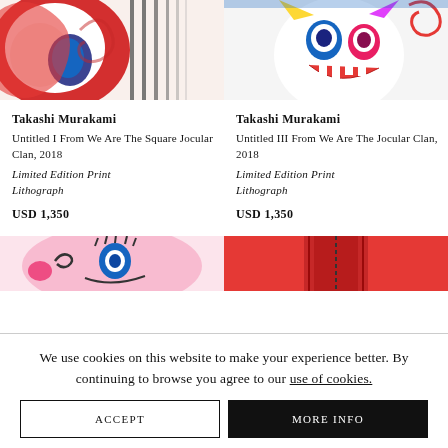[Figure (photo): Partial view of colorful artwork by Takashi Murakami (left panel) showing cartoon character with red, white, and blue colors]
[Figure (photo): Partial view of colorful artwork by Takashi Murakami (right panel) showing cartoon monster character with blue, red, orange, and purple colors]
Takashi Murakami
Untitled I From We Are The Square Jocular Clan, 2018
Limited Edition Print
Lithograph
USD 1,350
Takashi Murakami
Untitled III From We Are The Jocular Clan, 2018
Limited Edition Print
Lithograph
USD 1,350
[Figure (photo): Partial view of colorful artwork (bottom left) showing cartoon face on pink background]
[Figure (photo): Partial view of abstract artwork (bottom right) showing red background with dark vertical elements]
We use cookies on this website to make your experience better. By continuing to browse you agree to our use of cookies.
ACCEPT
MORE INFO